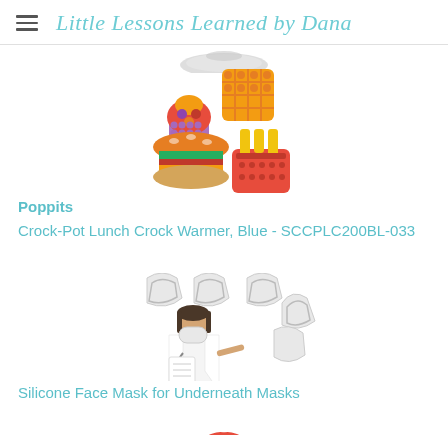Little Lessons Learned by Dana
[Figure (photo): Partial view of a round plate or lid, cropped at top]
[Figure (photo): Colorful food-shaped poppit fidget toys - burger, fries, cupcake, waffle shaped silicone pop toys]
Poppits
Crock-Pot Lunch Crock Warmer, Blue - SCCPLC200BL-033
[Figure (photo): White silicone 3D face mask brackets/frames shown with a woman in a white coat wearing a mask]
Silicone Face Mask for Underneath Masks
[Figure (photo): Partial view of a gift box with red ribbon bow and what appears to be a candle jar]